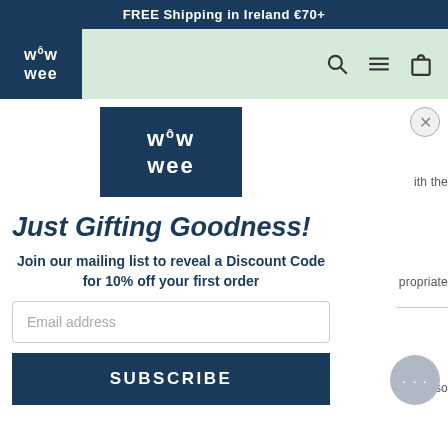FREE Shipping in Ireland €70+
[Figure (logo): Wow Wee logo in dark navy blue square, top navigation bar with mint green background, search, menu and bag icons on the right]
[Figure (logo): Wow Wee logo centered in modal popup, dark navy blue square with white text]
Just Gifting Goodness!
Join our mailing list to reveal a Discount Code for 10% off your first order
Email address
SUBSCRIBE